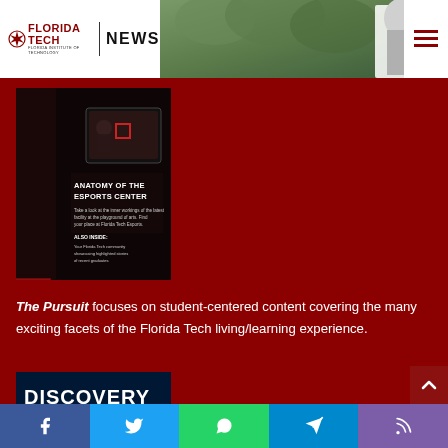[Figure (logo): Florida Tech News logo with star emblem and NEWS text]
[Figure (photo): Hero background photo showing green foliage and a dark statue on right side]
[Figure (photo): The Pursuit magazine cover showing Anatomy of the Esports Center article]
The Pursuit focuses on student-centered content covering the many exciting facets of the Florida Tech living/learning experience.
[Figure (photo): Discovery magazine cover with blue and earth-tone design]